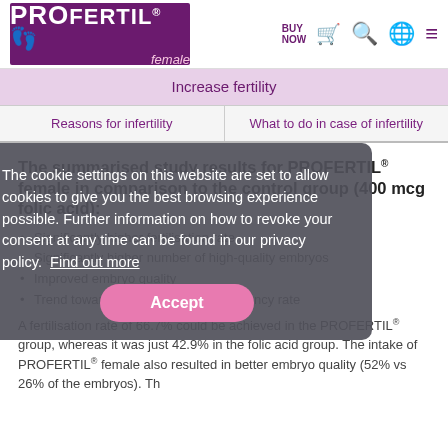PROFERTIL female — BUY NOW / Search / Language / Menu
Increase fertility
Reasons for infertility | What to do in case of infertility
The summarised study results for PROFERTIL® female in comparison to the control group (400 mcg folic acid):
Significantly higher fertilisation rate
Significantly higher number of high-quality embryos
Improved embryo quality
Trend towards a higher clinical pregnancy rate
A fertilisation rate of 66.7% could be achieved in the PROFERTIL® group, whereas it was just 42.9% in the folic acid group. The intake of PROFERTIL® female also resulted in better embryo quality (52% vs 26% of the embryos). Th
The cookie settings on this website are set to allow cookies to give you the best browsing experience possible. Further information on how to revoke your consent at any time can be found in our privacy policy. Find out more
Accept